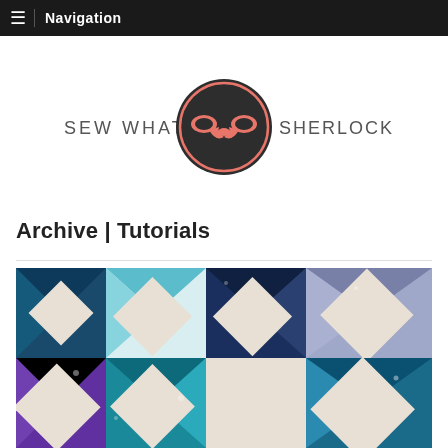Navigation
[Figure (logo): Sew What Sherlock? logo — circular dark badge with two Sherlock Holmes pipes forming a bow-tie shape in coral/salmon color, flanked by banner ribbons, text reads SEW WHAT on left and SHERLOCK? on right]
Archive | Tutorials
[Figure (photo): Close-up photograph of a blue and white quilt featuring a pinwheel/star block pattern with various blue fabric prints including teal, navy, aqua, and white solids arranged in a geometric pinwheel design]